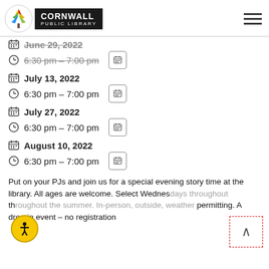Cornwall Public Library
June 29, 2022 — 6:30 pm - 7:00 pm
July 13, 2022 — 6:30 pm - 7:00 pm
July 27, 2022 — 6:30 pm - 7:00 pm
August 10, 2022 — 6:30 pm - 7:00 pm
Put on your PJs and join us for a special evening story time at the library. All ages are welcome. Select Wednesdays throughout the summer. In-person, outside, weather permitting. A drop-in event – no registration